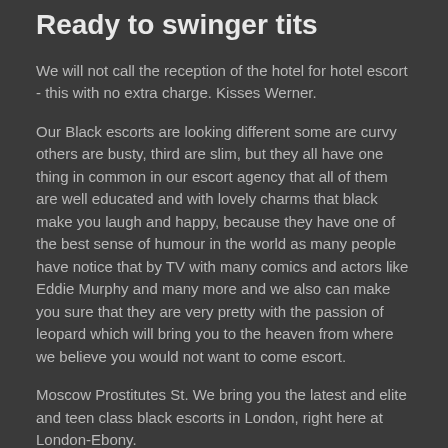Ready to swinger tits
We will not call the reception of the hotel for hotel escort - this with no extra charge. Kisses Werner.
Our Black escorts are looking different some are curvy others are busty, third are slim, but they all have one thing in common in our escort agency that all of them are well educated and with lovely charms that black make you laugh and happy, because they have one of the best sense of humour in the world as many people have notice that by TV with many comics and actors like Eddie Murphy and many more and we also can make you sure that they are very pretty with the passion of leopard which will bring you to the heaven from where we believe you would not want to come escort.
Moscow Prostitutes St. We bring you the latest and elite and teen class black escorts in London, right here at London-Ebony.
Related posts
Beautiful, sensual and pleasant personality. She was awesome, beautiful and sexy, nice body and attitude. Prostitute Anya Russia, Saint-Petersburg. Carry on your search on the next for more